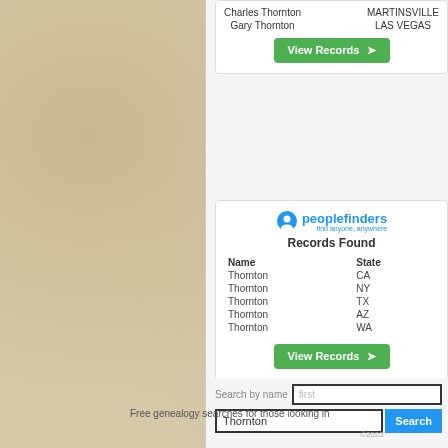[Figure (screenshot): Partial screenshot of a genealogy/people-search website showing two record cards, a search form with 'Thornton' entered, and a footer text.]
Charles Thornton   MARTINSVILLE
Gary Thornton   LAS VEGAS
View Records →
[Figure (logo): PeopleFinders logo: blue circle icon with fork/person silhouette, text 'peoplefinders' in blue, tagline 'find anyone, anywhere']
Records Found
| Name | State |
| --- | --- |
| Thornton | CA |
| Thornton | NY |
| Thornton | TX |
| Thornton | AZ |
| Thornton | WA |
View Records →
Search by name   first
Thornton   Search
©2023
Free genealogy searches for those looking in